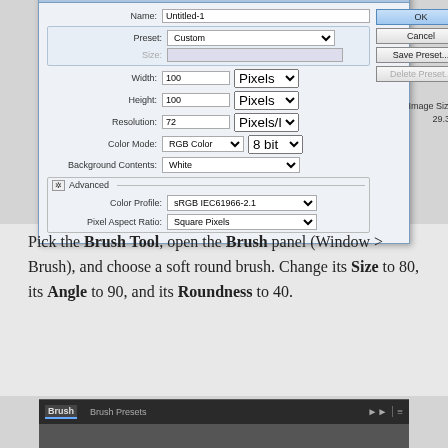[Figure (screenshot): Photoshop 'New' dialog box showing fields: Name (Untitled-1), Preset (Custom), Size (greyed out), Width (100 Pixels), Height (100 Pixels), Resolution (72 Pixels/Inch), Color Mode (RGB Color, 8 bit), Background Contents (White), Advanced section with Color Profile (sRGB IEC61966-2.1) and Pixel Aspect Ratio (Square Pixels). Right side shows OK, Cancel, Save Preset..., Delete Preset... buttons and Image Size: 29.3K]
Pick the Brush Tool, open the Brush panel (Window > Brush), and choose a soft round brush. Change its Size to 80, its Angle to 90, and its Roundness to 40.
[Figure (screenshot): Photoshop Brush panel header showing 'Brush' and 'Brush Presets' tabs with panel menu icons]